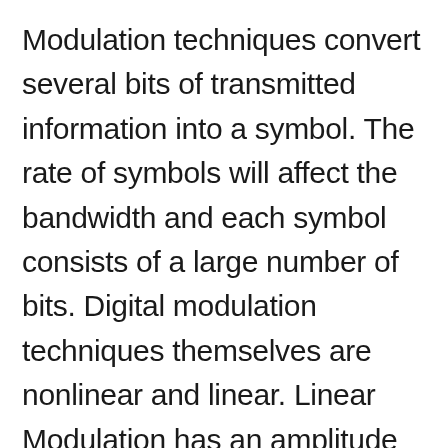Modulation techniques convert several bits of transmitted information into a symbol. The rate of symbols will affect the bandwidth and each symbol consists of a large number of bits. Digital modulation techniques themselves are nonlinear and linear. Linear Modulation has an amplitude that is channeled in the form of a linear line. Linear modulation is used in wireless LANs. While nonlinear is more used on most smartphones and also wireless data systems.